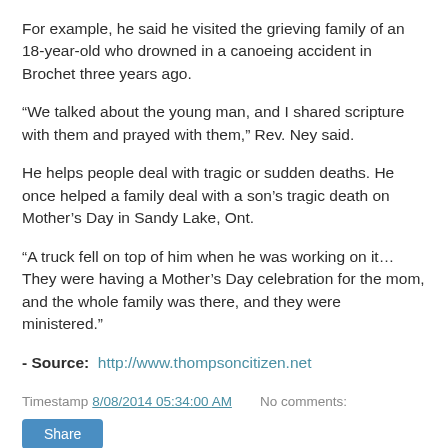For example, he said he visited the grieving family of an 18-year-old who drowned in a canoeing accident in Brochet three years ago.
“We talked about the young man, and I shared scripture with them and prayed with them,” Rev. Ney said.
He helps people deal with tragic or sudden deaths. He once helped a family deal with a son’s tragic death on Mother’s Day in Sandy Lake, Ont.
“A truck fell on top of him when he was working on it…They were having a Mother’s Day celebration for the mom, and the whole family was there, and they were ministered.”
- Source:  http://www.thompsoncitizen.net
Timestamp 8/08/2014 05:34:00 AM    No comments: